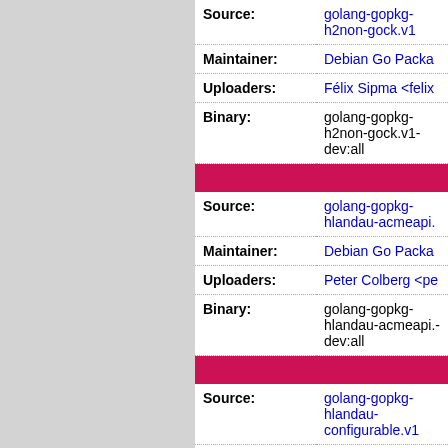| Field | Value |
| --- | --- |
| Source: | golang-gopkg-h2non-gock.v1 |
| Maintainer: | Debian Go Packa... |
| Uploaders: | Félix Sipma <felix... |
| Binary: | golang-gopkg-h2non-gock.v1-dev:all |
| Field | Value |
| --- | --- |
| Source: | golang-gopkg-hlandau-acmeapi.... |
| Maintainer: | Debian Go Packa... |
| Uploaders: | Peter Colberg <pe... |
| Binary: | golang-gopkg-hlandau-acmeapi...-dev:all |
| Field | Value |
| --- | --- |
| Source: | golang-gopkg-hlandau-configurable.v1 |
| Maintainer: | Debian Go Packa... |